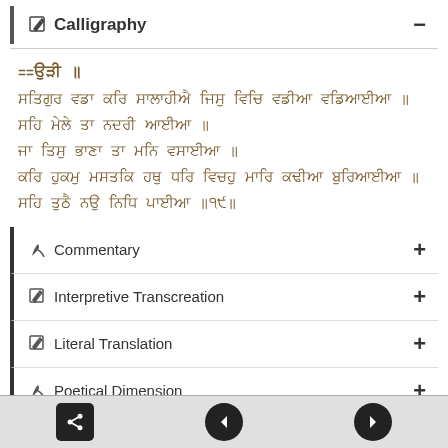Calligraphy
[Figure (illustration): Calligraphic Gurmukhi script text block with 6 lines of Punjabi text in golden-brown ink]
Commentary
Interpretive Transcreation
Literal Translation
Poetical Dimension
Navigation bar with share, back, and forward buttons